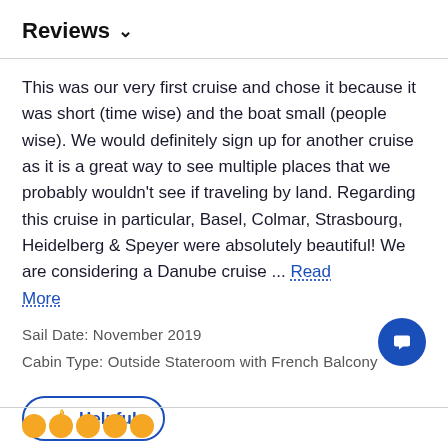Reviews ∨
This was our very first cruise and chose it because it was short (time wise) and the boat small (people wise). We would definitely sign up for another cruise as it is a great way to see multiple places that we probably wouldn't see if traveling by land. Regarding this cruise in particular, Basel, Colmar, Strasbourg, Heidelberg & Speyer were absolutely beautiful! We are considering a Danube cruise ... Read More
Sail Date: November 2019
Cabin Type: Outside Stateroom with French Balcony
👍 Helpful